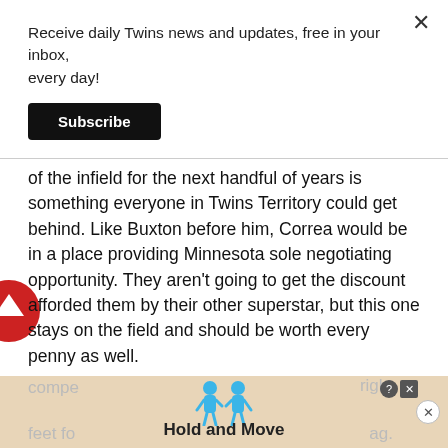Receive daily Twins news and updates, free in your inbox, every day!
Subscribe
of the infield for the next handful of years is something everyone in Twins Territory could get behind. Like Buxton before him, Correa would be in a place providing Minnesota sole negotiating opportunity. They aren't going to get the discount afforded them by their other superstar, but this one stays on the field and should be worth every penny as well.
Some deadline additions and a postseason run could continue to help Minnesota make its case as a
[Figure (screenshot): Bottom advertisement banner showing 'Hold and Move' with cartoon figures, close and question mark buttons, and partially visible text]
[Figure (other): Red circular scroll-to-top button with up arrow on left side of page]